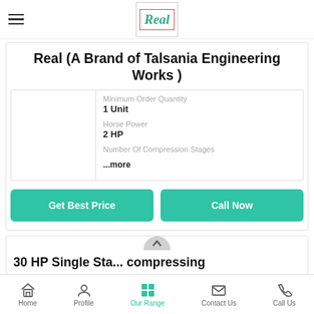[Figure (logo): Real brand logo in a bordered box with green italic text]
Real (A Brand of Talsania Engineering Works )
Minimum Order Quantity
1 Unit
Horse Power
2 HP
Number Of Compression Stages
...more
Get Best Price
Call Now
30 HP Single Sta... compressing
Home   Profile   Our Range   Contact Us   Call Us